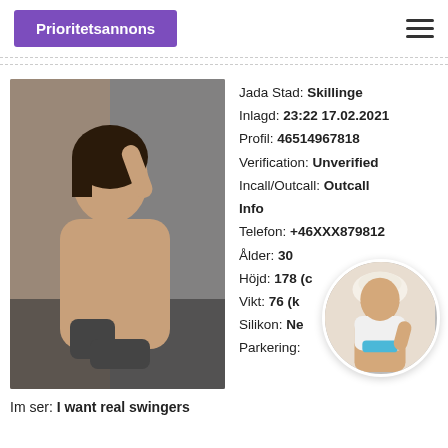Prioritetsannons
[Figure (photo): Main profile photo of a woman posing in a car]
Jada Stad: Skillinge
Inlagd: 23:22 17.02.2021
Profil: 46514967818
Verification: Unverified
Incall/Outcall: Outcall
Info
Telefon: +46XXX879812
Ålder: 30
Höjd: 178 (cm)
Vikt: 76 (kg)
Silikon: Nej
Parkering:
[Figure (photo): Small circular thumbnail photo of a woman in white outfit]
Im ser: I want real swingers